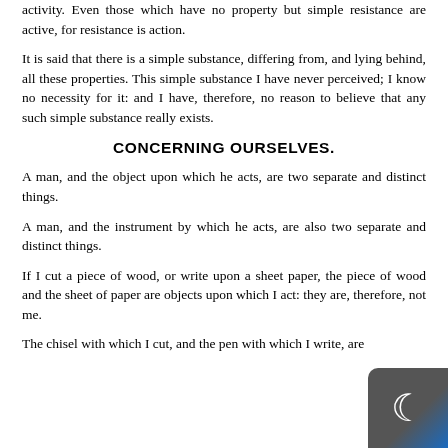activity. Even those which have no property but simple resistance are active, for resistance is action.
It is said that there is a simple substance, differing from, and lying behind, all these properties. This simple substance I have never perceived; I know no necessity for it: and I have, therefore, no reason to believe that any such simple substance really exists.
CONCERNING OURSELVES.
A man, and the object upon which he acts, are two separate and distinct things.
A man, and the instrument by which he acts, are also two separate and distinct things.
If I cut a piece of wood, or write upon a sheet paper, the piece of wood and the sheet of paper are objects upon which I act: they are, therefore, not me.
The chisel with which I cut, and the pen with which I write, are